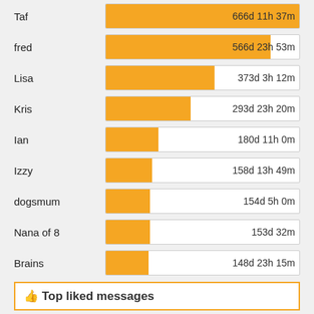[Figure (bar-chart): Top time online]
👍 Top liked messages
[Figure (bar-chart): Top liked messages]